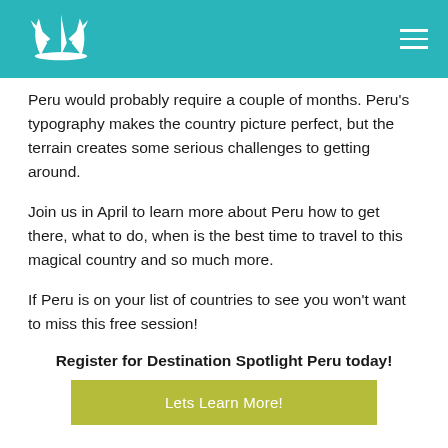Destination Spotlight Peru — navigation header with logo
Peru would probably require a couple of months. Peru's typography makes the country picture perfect, but the terrain creates some serious challenges to getting around.
Join us in April to learn more about Peru how to get there, what to do, when is the best time to travel to this magical country and so much more.
If Peru is on your list of countries to see you won't want to miss this free session!
Register for Destination Spotlight Peru today!
[Figure (other): Green button labeled 'Lets Learn More!']